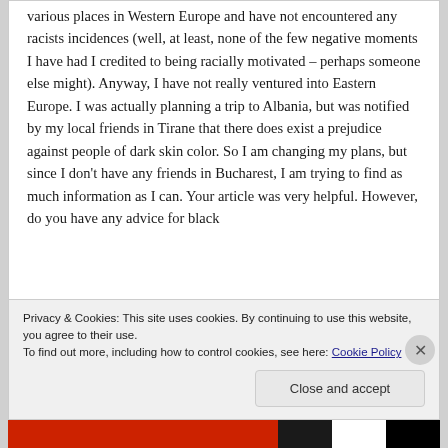various places in Western Europe and have not encountered any racists incidences (well, at least, none of the few negative moments I have had I credited to being racially motivated – perhaps someone else might). Anyway, I have not really ventured into Eastern Europe. I was actually planning a trip to Albania, but was notified by my local friends in Tirane that there does exist a prejudice against people of dark skin color. So I am changing my plans, but since I don't have any friends in Bucharest, I am trying to find as much information as I can. Your article was very helpful. However, do you have any advice for black
Privacy & Cookies: This site uses cookies. By continuing to use this website, you agree to their use.
To find out more, including how to control cookies, see here: Cookie Policy
Close and accept